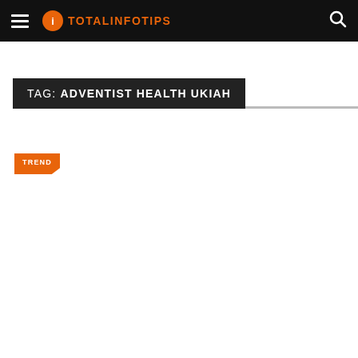TOTALINFOTIPS
TAG: ADVENTIST HEALTH UKIAH
TREND